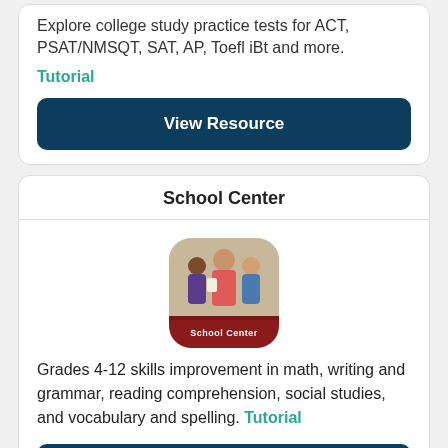Explore college study practice tests for ACT, PSAT/NMSQT, SAT, AP, Toefl iBt and more.
Tutorial
View Resource
School Center
[Figure (photo): School Center logo showing a group of students with a teacher, with a dark red banner reading 'School Center']
Grades 4-12 skills improvement in math, writing and grammar, reading comprehension, social studies, and vocabulary and spelling. Tutorial
View Resource